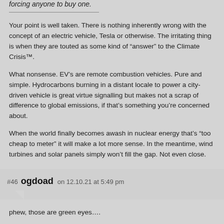forcing anyone to buy one.
Your point is well taken. There is nothing inherently wrong with the concept of an electric vehicle, Tesla or otherwise. The irritating thing is when they are touted as some kind of “answer” to the Climate Crisis™.
What nonsense. EV’s are remote combustion vehicles. Pure and simple. Hydrocarbons burning in a distant locale to power a city-driven vehicle is great virtue signalling but makes not a scrap of difference to global emissions, if that’s something you’re concerned about.
When the world finally becomes awash in nuclear energy that’s “too cheap to meter” it will make a lot more sense. In the meantime, wind turbines and solar panels simply won’t fill the gap. Not even close.
#46 ogdoad on 12.10.21 at 5:49 pm
phew, those are green eyes….
I hope the people that read this blog are heavily evolved in giving. You are obviously rich, lots of $$ and investments: are able afford dogs (and cats),